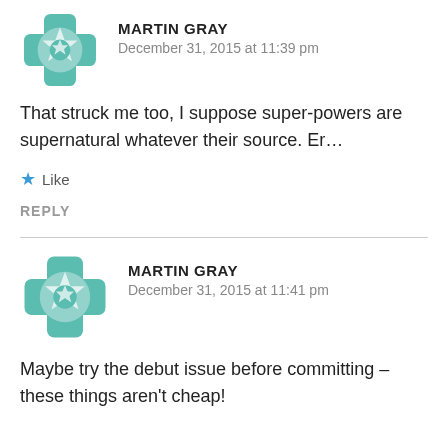[Figure (illustration): Teal/green decorative avatar icon with geometric star pattern, partially cut off at top]
MARTIN GRAY
December 31, 2015 at 11:39 pm
That struck me too, I suppose super-powers are supernatural whatever their source. Er…
★ Like
REPLY
[Figure (illustration): Teal/green decorative avatar icon with geometric star pattern]
MARTIN GRAY
December 31, 2015 at 11:41 pm
Maybe try the debut issue before committing – these things aren't cheap!